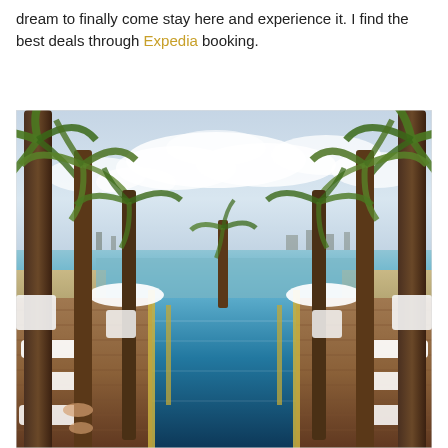dream to finally come stay here and experience it. I find the best deals through Expedia booking.
[Figure (photo): Outdoor infinity pool at a beach resort lined with tall palm trees, white sun loungers, and wooden decking. The pool reflects the sky and leads toward a turquoise sea and coastal city skyline in the background under a partly cloudy sky.]